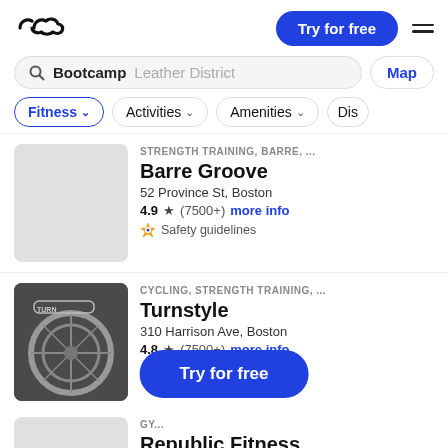ClassPass app header with logo, Try for free button, and hamburger menu
Bootcamp  Leather District
Map
Fitness  Activities  Amenities  Dis...
STRENGTH TRAINING, BARRE, ...
Barre Groove
52 Province St, Boston
4.9 ★ (7500+)  more info
Safety guidelines
CYCLING, STRENGTH TRAINING, ...
Turnstyle
310 Harrison Ave, Boston
4.8 ★ (7500+)  more info
Safety guidelines
Try for free
GY...
Republic Fitness